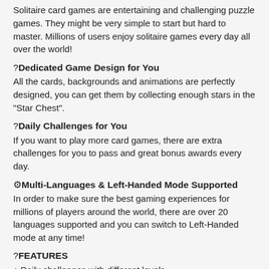Solitaire card games are entertaining and challenging puzzle games. They might be very simple to start but hard to master. Millions of users enjoy solitaire games every day all over the world!
?Dedicated Game Design for You
All the cards, backgrounds and animations are perfectly designed, you can get them by collecting enough stars in the "Star Chest".
?Daily Challenges for You
If you want to play more card games, there are extra challenges for you to pass and great bonus awards every day.
⚙Multi-Languages & Left-Handed Mode Supported
In order to make sure the best gaming experiences for millions of players around the world, there are over 20 languages supported and you can switch to Left-Handed mode at any time!
?FEATURES
♠ Daily challenges with different levels
♠ Customizable beautiful themes
♠ Up to 10 top records
♠ Klondike Solitaire Draw 1 card or 3 cards
♠ Timer mode